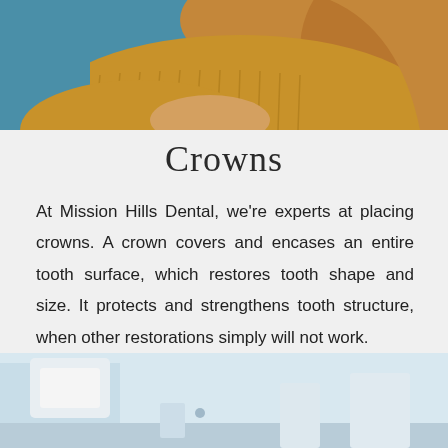[Figure (photo): Woman in mustard yellow sweater sitting in a dental chair, partial crop showing upper body and hair]
Crowns
At Mission Hills Dental, we’re experts at placing crowns. A crown covers and encases an entire tooth surface, which restores tooth shape and size. It protects and strengthens tooth structure, when other restorations simply will not work.
[Figure (photo): Dental office equipment, partial view at bottom of page]